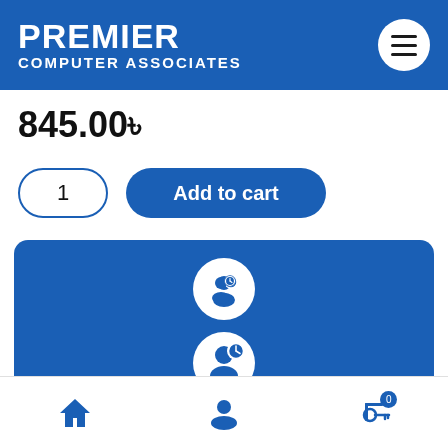PREMIER COMPUTER ASSOCIATES
845.00৳
1  Add to cart
Ask Our Experts For Details
Live Chat | 01978784025
BKASH PAY  NAGAD PAY
Home | Account | Cart (0)